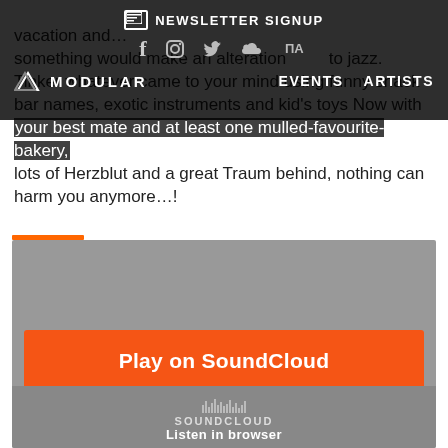vacation and... [something] ...something would make an alteration ...to jazz. Tinker whatever came to your mind using funny snack bar names, exotic instruments and kid's toys Now with your best mate and at least one mulled-favourite-bakery, lots of Herzblut and a great Traum behind, nothing can harm you anymore...!
NEWSLETTER SIGNUP | EVENTS | ARTISTS | MODULAR
[Figure (screenshot): SoundCloud embedded player widget with orange 'Play on SoundCloud' button and 'Listen in browser' footer]